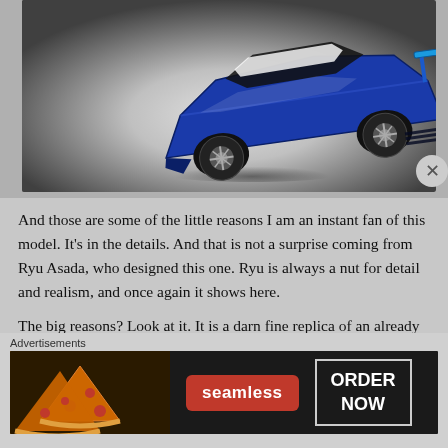[Figure (photo): A blue toy die-cast sports/race car (Hot Wheels style) photographed from a rear three-quarter angle on a light gray gradient background. The car has a large rear spoiler and prominent wheels.]
And those are some of the little reasons I am an instant fan of this model.  It's in the details.  And that is not a surprise coming from Ryu Asada, who designed this one.  Ryu is always a nut for detail and realism, and once again it shows here.
The big reasons?  Look at it.  It is a darn fine replica of an already legendary car.   Sure the rear spoiler is a little thick, but you can blame safety specifications for that.  And come on, it isn't that
Advertisements
[Figure (photo): Advertisement banner for Seamless food delivery service. Left side shows pizza slices, center has red 'seamless' logo, right side shows 'ORDER NOW' in a white-bordered box on dark background.]